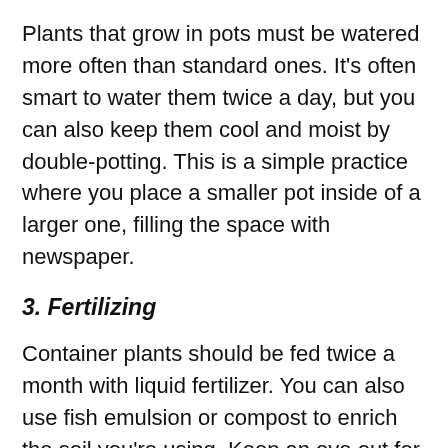Plants that grow in pots must be watered more often than standard ones. It's often smart to water them twice a day, but you can also keep them cool and moist by double-potting. This is a simple practice where you place a smaller pot inside of a larger one, filling the space with newspaper.
3. Fertilizing
Container plants should be fed twice a month with liquid fertilizer. You can also use fish emulsion or compost to enrich the soil you're using. Keep an eye out for bugs as they can quickly become a problem, especially in an organic garden without pesticides.
4. Choosing Soil
When you're building a home garden, the soil is very important. Do not use soil from outside as it will be too heavy for your needs. It can also have